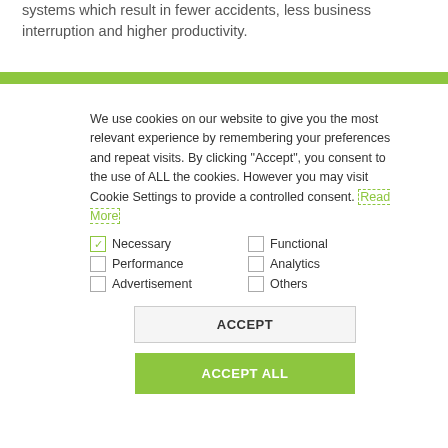systems which result in fewer accidents, less business interruption and higher productivity.
We use cookies on our website to give you the most relevant experience by remembering your preferences and repeat visits. By clicking "Accept", you consent to the use of ALL the cookies. However you may visit Cookie Settings to provide a controlled consent. Read More
Necessary  Functional
Performance  Analytics
Advertisement  Others
ACCEPT
ACCEPT ALL